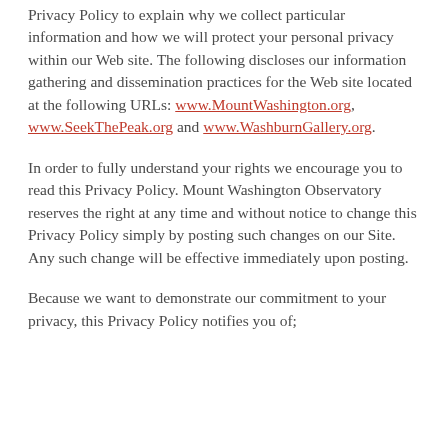Privacy Policy to explain why we collect particular information and how we will protect your personal privacy within our Web site. The following discloses our information gathering and dissemination practices for the Web site located at the following URLs: www.MountWashington.org, www.SeekThePeak.org and www.WashburnGallery.org.
In order to fully understand your rights we encourage you to read this Privacy Policy. Mount Washington Observatory reserves the right at any time and without notice to change this Privacy Policy simply by posting such changes on our Site. Any such change will be effective immediately upon posting.
Because we want to demonstrate our commitment to your privacy, this Privacy Policy notifies you of;